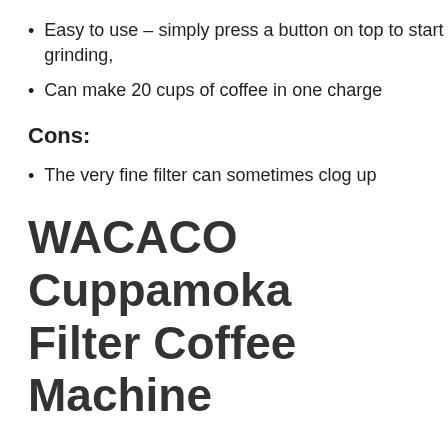Easy to use – simply press a button on top to start grinding,
Can make 20 cups of coffee in one charge
Cons:
The very fine filter can sometimes clog up
WACACO Cuppamoka Filter Coffee Machine